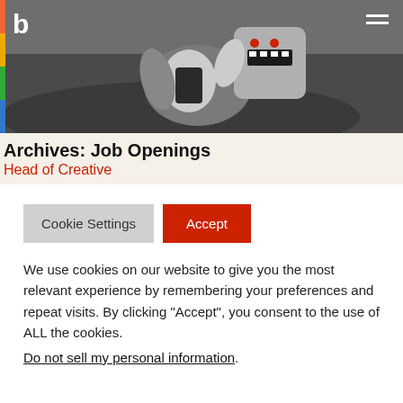[Figure (photo): Grayscale hero banner photo showing a person or mascot figure lying on a couch/sofa, wearing a cartoon monster pillow as a head with red eyes and teeth. The website logo 'b' with colorful bar is in the top left, and a hamburger menu icon is in the top right.]
Archives: Job Openings
Head of Creative
Cookie Settings | Accept
We use cookies on our website to give you the most relevant experience by remembering your preferences and repeat visits. By clicking “Accept”, you consent to the use of ALL the cookies.
Do not sell my personal information.